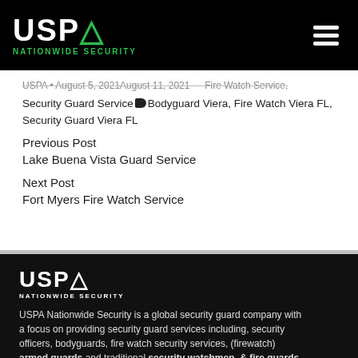[Figure (logo): USPA Nationwide Security logo with white USPA text and green triangle/arrow accent and green NATIONWIDE SECURITY subtitle, on black background. Hamburger menu icon top right.]
USPA • August 5, 2021 August 11, 2021 — Fire Watch Service, Security Guard Service [tag] Bodyguard Viera, Fire Watch Viera FL, Security Guard Viera FL
Previous Post
Lake Buena Vista Guard Service
Next Post
Fort Myers Fire Watch Service
[Figure (logo): USPA Nationwide Security white logo (white USPA text, white NATIONWIDE SECURITY subtitle) on black background]
USPA Nationwide Security is a global security guard company with a focus on providing security guard services including, security officers, bodyguards, fire watch security services, (firewatch) armed guards and traditional security watchmen, & fire guards.